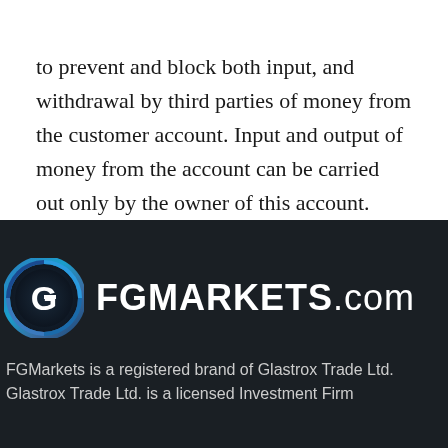to prevent and block both input, and withdrawal by third parties of money from the customer account. Input and output of money from the account can be carried out only by the owner of this account.
[Figure (logo): FGMarkets logo: circular icon with G letter design in blue/teal gradient on dark background, beside bold text 'FGMARKETS.com' in white]
FGMarkets is a registered brand of Glastrox Trade Ltd. Glastrox Trade Ltd. is a licensed Investment Firm